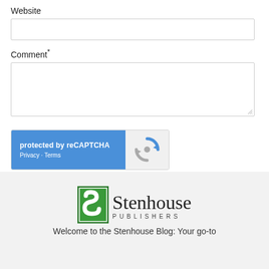Website
Comment*
[Figure (screenshot): reCAPTCHA widget with blue left panel reading 'protected by reCAPTCHA' and 'Privacy - Terms', and a grey right panel with the reCAPTCHA spinner logo]
Submit Comment
[Figure (logo): Stenhouse Publishers logo: green square with white S letterform, followed by 'Stenhouse' in large serif font and 'PUBLISHERS' in spaced small caps below]
Welcome to the Stenhouse Blog: Your go-to